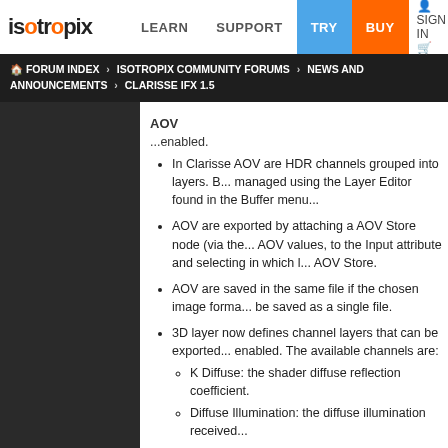isotropix | LEARN | SUPPORT | TRY | BUY | SIGN IN
FORUM INDEX › ISOTROPIX COMMUNITY FORUMS › NEWS AND ANNOUNCEMENTS › CLARISSE IFX 1.5
AOV
...enabled.
In Clarisse AOV are HDR channels grouped into layers. B... managed using the Layer Editor found in the Buffer menu...
AOV are exported by attaching a AOV Store node (via the... AOV values, to the Input attribute and selecting in which l... AOV Store.
AOV are saved in the same file if the chosen image forma... be saved as a single file.
3D layer now defines channel layers that can be exported... enabled. The available channels are:
K Diffuse: the shader diffuse reflection coefficient.
Diffuse Illumination: the diffuse illumination received...
Luminosity: the light emitted by the shader.
K Specular: the shader specular reflection coefficien...
Specular Illumination: the specular illumination recei...
K Reflection: the shader reflectivity coefficient.
Raw Reflection: the raytraced reflection as if the sha...
Refraction: the raytraced refraction as if the shader...